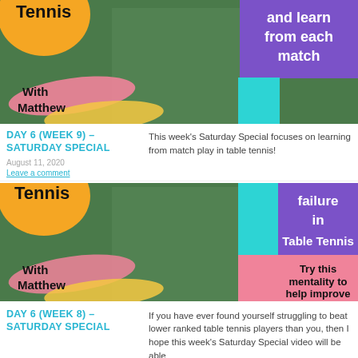[Figure (photo): Video thumbnail showing a young man in a grey shirt outdoors with table tennis branding. Text overlays: 'Tennis', 'and learn from each match', 'With Matthew']
DAY 6 (WEEK 9) – SATURDAY SPECIAL
August 11, 2020
Leave a comment
This week's Saturday Special focuses on learning from match play in table tennis!
[Figure (photo): Video thumbnail showing a young man with sunglasses outdoors with table tennis branding. Text overlays: 'Tennis', 'failure in Table Tennis', 'Try this mentality to help improve', 'With Matthew']
DAY 6 (WEEK 8) – SATURDAY SPECIAL
If you have ever found yourself struggling to beat lower ranked table tennis players than you, then I hope this week's Saturday Special video will be able